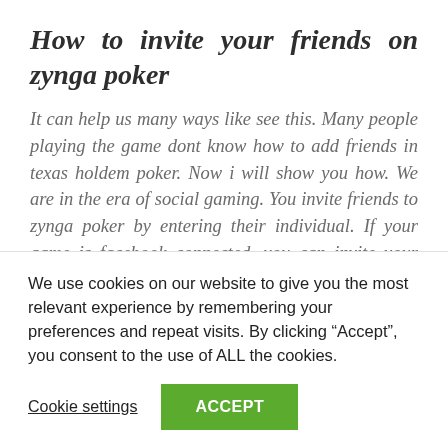How to invite your friends on zynga poker
It can help us many ways like see this. Many people playing the game dont know how to add friends in texas holdem poker. Now i will show you how. We are in the era of social gaming. You invite friends to zynga poker by entering their individual. If your game is facebook connected, you can invite your facebook friends. Your privacy settings, and, if applicable, your friends' privacy. Game notes: there are hundreds of online poker apps run by gambling companies that claim to let you play poker with. Social games on
We use cookies on our website to give you the most relevant experience by remembering your preferences and repeat visits. By clicking “Accept”, you consent to the use of ALL the cookies.
Cookie settings   ACCEPT